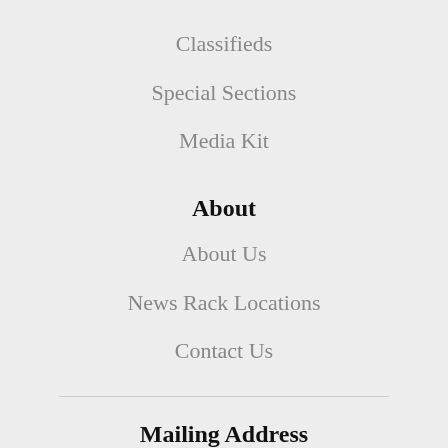Classifieds
Special Sections
Media Kit
About
About Us
News Rack Locations
Contact Us
Mailing Address